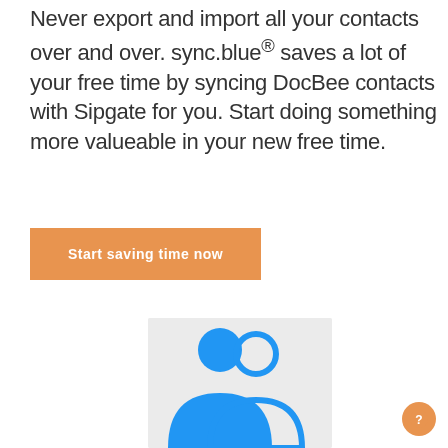Never export and import all your contacts over and over. sync.blue® saves a lot of your free time by syncing DocBee contacts with Sipgate for you. Start doing something more valueable in your new free time.
Start saving time now
[Figure (illustration): Blue silhouette illustration of two people/contact icons on a light grey background, partially visible at bottom of page.]